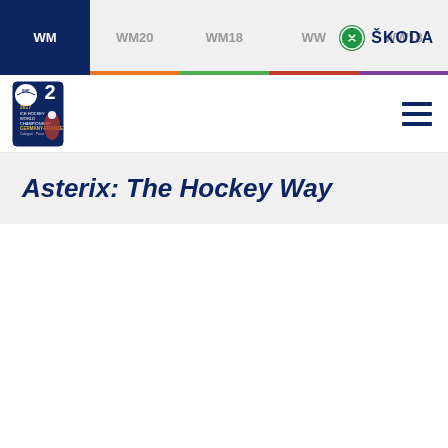WM | WM20 | WM18 | WW | WW18
[Figure (logo): IIHF 2017 Ice Hockey World Championship Germany-France logo and Skoda sponsor logo]
Asterix: The Hockey Way